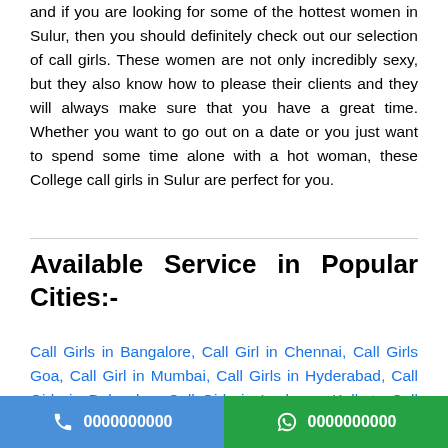and if you are looking for some of the hottest women in Sulur, then you should definitely check out our selection of call girls. These women are not only incredibly sexy, but they also know how to please their clients and they will always make sure that you have a great time. Whether you want to go out on a date or you just want to spend some time alone with a hot woman, these College call girls in Sulur are perfect for you.
Available Service in Popular Cities:-
Call Girls in Bangalore, Call Girl in Chennai, Call Girls Goa, Call Girl in Mumbai, Call Girls in Hyderabad, Call Girls in Dehradun, Call Girls in Lucknow, Kolkata Call Girls, Gurgaon Call Girls, Call Girls in Ahmedabad, Delhi Escorts
0000000000  0000000000